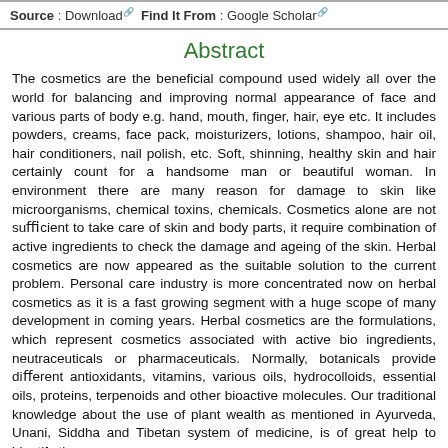Source : Download  Find It From : Google Scholar
Abstract
The cosmetics are the beneficial compound used widely all over the world for balancing and improving normal appearance of face and various parts of body e.g. hand, mouth, finger, hair, eye etc. It includes powders, creams, face pack, moisturizers, lotions, shampoo, hair oil, hair conditioners, nail polish, etc. Soft, shinning, healthy skin and hair certainly count for a handsome man or beautiful woman. In environment there are many reason for damage to skin like microorganisms, chemical toxins, chemicals. Cosmetics alone are not sufficient to take care of skin and body parts, it require combination of active ingredients to check the damage and ageing of the skin. Herbal cosmetics are now appeared as the suitable solution to the current problem. Personal care industry is more concentrated now on herbal cosmetics as it is a fast growing segment with a huge scope of many development in coming years. Herbal cosmetics are the formulations, which represent cosmetics associated with active bio ingredients, neutraceuticals or pharmaceuticals. Normally, botanicals provide different antioxidants, vitamins, various oils, hydrocolloids, essential oils, proteins, terpenoids and other bioactive molecules. Our traditional knowledge about the use of plant wealth as mentioned in Ayurveda, Unani, Siddha and Tibetan system of medicine, is of great help to identify the